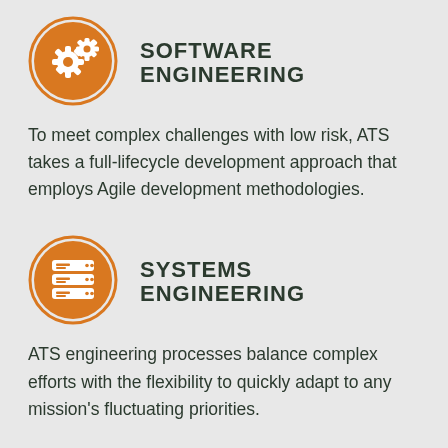[Figure (illustration): Orange circle with white gear/cog icons representing software engineering]
SOFTWARE ENGINEERING
To meet complex challenges with low risk, ATS takes a full-lifecycle development approach that employs Agile development methodologies.
[Figure (illustration): Orange circle with white server/database stack icon representing systems engineering]
SYSTEMS ENGINEERING
ATS engineering processes balance complex efforts with the flexibility to quickly adapt to any mission's fluctuating priorities.